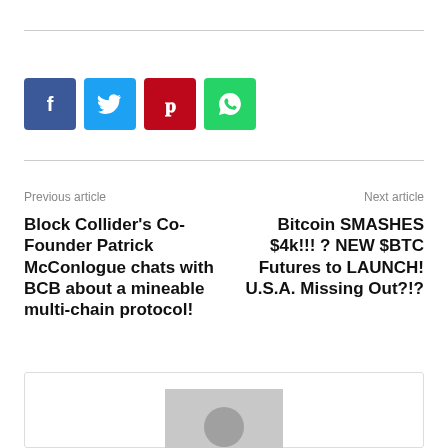[Figure (infographic): Social share buttons: Facebook (blue), Twitter (light blue), Pinterest (red), WhatsApp (green)]
Previous article
Next article
Block Collider’s Co-Founder Patrick McConlogue chats with BCB about a mineable multi-chain protocol!
Bitcoin SMASHES $4k!!! ? NEW $BTC Futures to LAUNCH! U.S.A. Missing Out?!?
[Figure (photo): Author avatar placeholder image (grey square with user silhouette icon)]